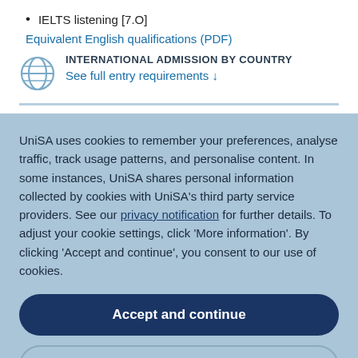IELTS listening [7.0]
Equivalent English qualifications (PDF)
INTERNATIONAL ADMISSION BY COUNTRY
See full entry requirements ↓
UniSA uses cookies to remember your preferences, analyse traffic, track usage patterns, and personalise content. In some instances, UniSA shares personal information collected by cookies with UniSA's third party service providers. See our privacy notification for further details. To adjust your cookie settings, click 'More information'. By clicking 'Accept and continue', you consent to our use of cookies.
Accept and continue
More information